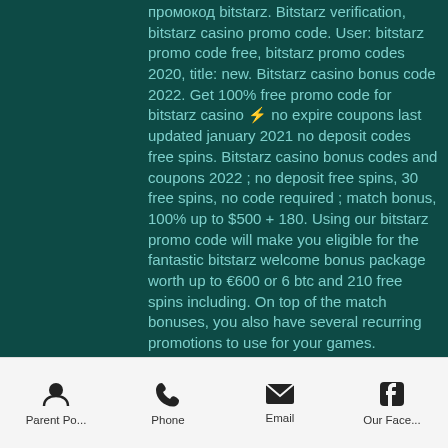промокод bitstarz. Bitstarz verification, bitstarz casino promo code. User: bitstarz promo code free, bitstarz promo codes 2020, title: new. Bitstarz casino bonus code 2022. Get 100% free promo code for bitstarz casino ⚡ no expire coupons last updated january 2021 no deposit codes free spins. Bitstarz casino bonus codes and coupons 2022 ; no deposit free spins, 30 free spins, no code required ; match bonus, 100% up to $500 + 180. Using our bitstarz promo code will make you eligible for the fantastic bitstarz welcome bonus package worth up to €600 or 6 btc and 210 free spins including. On top of the match bonuses, you also have several recurring promotions to use for your games. Everything is recapped in the table below: bonus. Coupons last updated january 2021 no deposit codes free spins codes
Parent Po... | Phone | Email | Our Face...